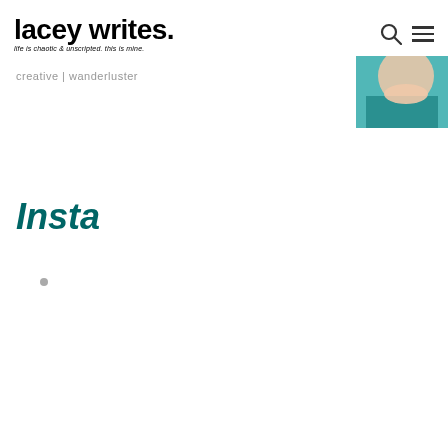lacey writes. life is chaotic & unscripted. this is mine.
creative | wanderluster
[Figure (photo): Partial cropped photo of a person wearing a teal/turquoise top, visible in upper right corner of the page.]
Insta